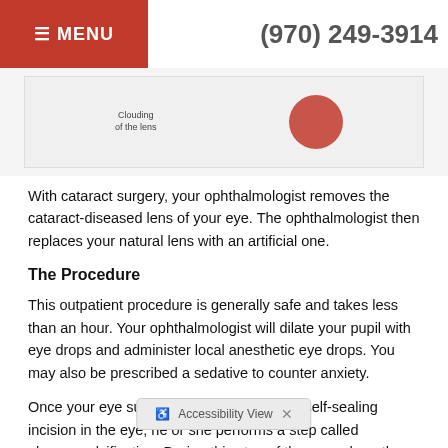≡ MENU    (970) 249-3914
[Figure (illustration): Medical illustration showing clouding of the lens with a red circular element representing a cataract]
With cataract surgery, your ophthalmologist removes the cataract-diseased lens of your eye. The ophthalmologist then replaces your natural lens with an artificial one.
The Procedure
This outpatient procedure is generally safe and takes less than an hour. Your ophthalmologist will dilate your pupil with eye drops and administer local anesthetic eye drops. You may also be prescribed a sedative to counter anxiety.
Once your eye surgeon has made a small, self-sealing incision in the eye, he or she performs a step called phacoemulsification. During this step of the procedure, the ophthalmologist inserts a thin probe into the cataractous lens and uses ultrasound waves to break it up, before suctioning out the pieces
Once your eye surgeon removes your cataract, he or she